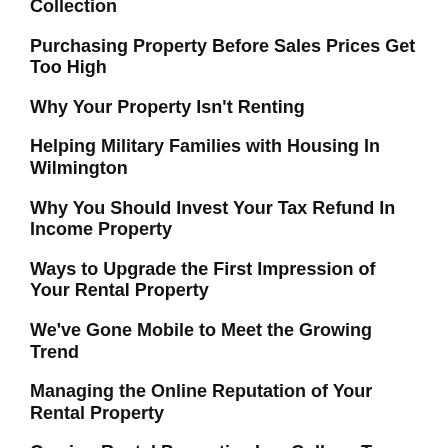Collection
Purchasing Property Before Sales Prices Get Too High
Why Your Property Isn't Renting
Helping Military Families with Housing In Wilmington
Why You Should Invest Your Tax Refund In Income Property
Ways to Upgrade the First Impression of Your Rental Property
We've Gone Mobile to Meet the Growing Trend
Managing the Online Reputation of Your Rental Property
Owning Rental Properties In a College Town